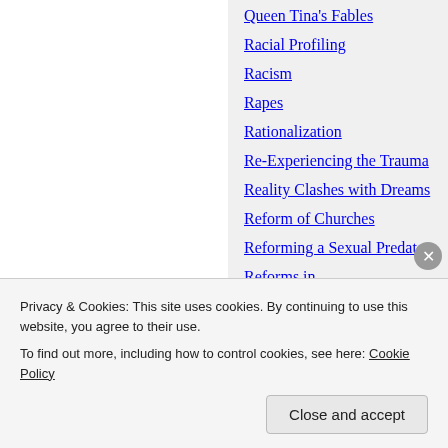Queen Tina's Fables
Racial Profiling
Racism
Rapes
Rationalization
Re-Experiencing the Trauma
Reality Clashes with Dreams
Reform of Churches
Reforming a Sexual Predator
Reforms in
Privacy & Cookies: This site uses cookies. By continuing to use this website, you agree to their use.
To find out more, including how to control cookies, see here: Cookie Policy
Close and accept